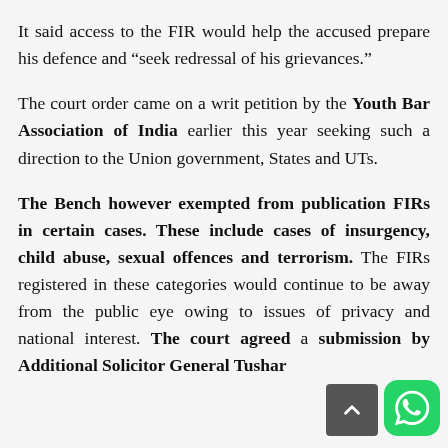It said access to the FIR would help the accused prepare his defence and “seek redressal of his grievances.”
The court order came on a writ petition by the Youth Bar Association of India earlier this year seeking such a direction to the Union government, States and UTs.
The Bench however exempted from publication FIRs in certain cases. These include cases of insurgency, child abuse, sexual offences and terrorism. The FIRs registered in these categories would continue to be away from the public eye owing to issues of privacy and national interest. The court agreed a submission by Additional Solicitor General Tushar